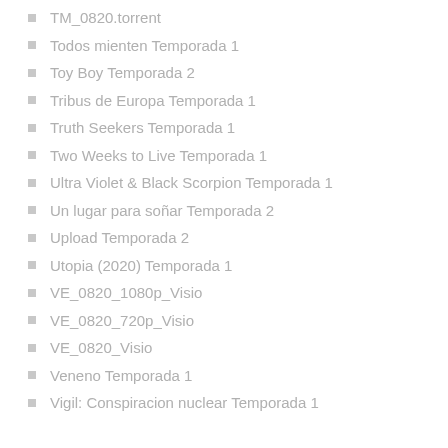TM_0820.torrent
Todos mienten Temporada 1
Toy Boy Temporada 2
Tribus de Europa Temporada 1
Truth Seekers Temporada 1
Two Weeks to Live Temporada 1
Ultra Violet & Black Scorpion Temporada 1
Un lugar para soñar Temporada 2
Upload Temporada 2
Utopia (2020) Temporada 1
VE_0820_1080p_Visio
VE_0820_720p_Visio
VE_0820_Visio
Veneno Temporada 1
Vigil: Conspiracion nuclear Temporada 1